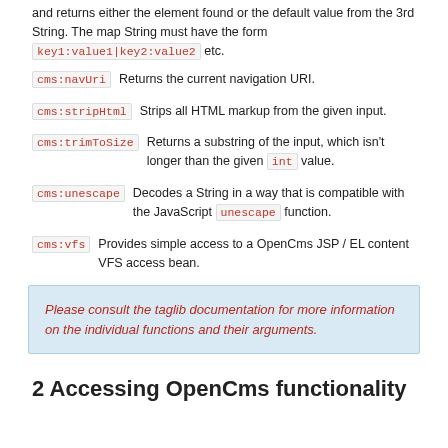and returns either the element found or the default value from the 3rd String. The map String must have the form key1:value1|key2:value2 etc.
cms:navUri  Returns the current navigation URI.
cms:stripHtml  Strips all HTML markup from the given input.
cms:trimToSize  Returns a substring of the input, which isn't longer than the given int value.
cms:unescape  Decodes a String in a way that is compatible with the JavaScript unescape function.
cms:vfs  Provides simple access to a OpenCms JSP / EL content VFS access bean.
Please consult the taglib documentation for more information on the individual functions and their arguments.
2 Accessing OpenCms functionality